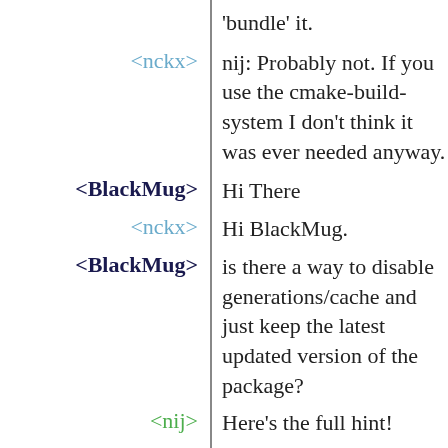'bundle' it.
<nckx>  nij: Probably not. If you use the cmake-build-system I don't think it was ever needed anyway.
<BlackMug>  Hi There
<nckx>  Hi BlackMug.
<BlackMug>  is there a way to disable generations/cache and just keep the latest updated version of the package?
<nij>  Here's the full hint!
https://bpa.st/I3RQ